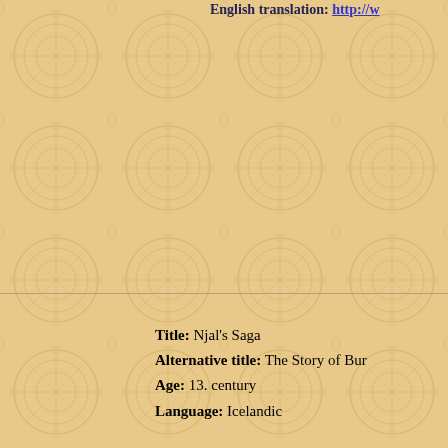English translation: http://w...
Title: Njal's Saga
Alternative title: The Story of Bu...
Age: 13. century
Language: Icelandic
Not a fencing treatise, but co...
Transcription: http://www.s...
English translation: http://c...
English translation: http://v...